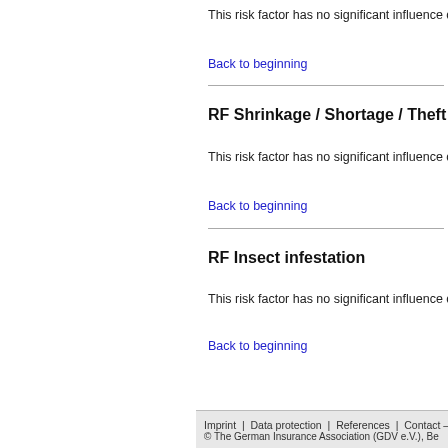This risk factor has no significant influence on
Back to beginning
RF Shrinkage / Shortage / Theft
This risk factor has no significant influence on
Back to beginning
RF Insect infestation
This risk factor has no significant influence on
Back to beginning
Imprint | Data protection | References | Contact – Pr © The German Insurance Association (GDV e.V.), Be